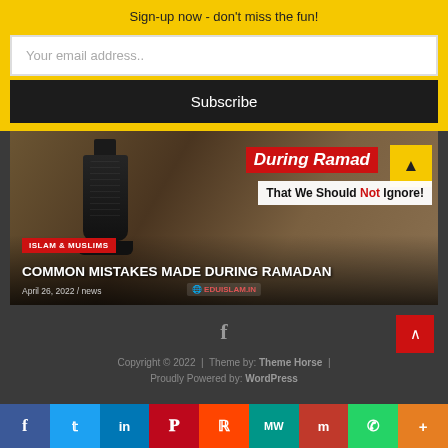Sign-up now - don't miss the fun!
Your email address..
Subscribe
[Figure (screenshot): Article card image showing 'Common Mistakes Made During Ramadan' with a decorative lamp photo, red category label 'ISLAM & MUSLIMS', article title, date April 26, 2022 / news, and EDUISLAM.IN watermark. Overlay text reads 'During Ramad' in red banner and 'That We Should Not Ignore!' in white box.]
f
Copyright © 2022  |  Theme by: Theme Horse  |  Proudly Powered by: WordPress
[Figure (infographic): Social sharing bar with icons: Facebook (blue), Twitter (light blue), LinkedIn (dark blue), Pinterest (red), Reddit (orange-red), Mix/MW (teal), Mix (dark red), WhatsApp (green), More (orange)]